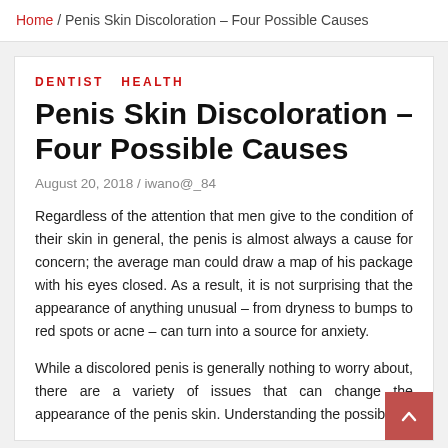Home / Penis Skin Discoloration – Four Possible Causes
DENTIST  HEALTH
Penis Skin Discoloration – Four Possible Causes
August 20, 2018 / iwano@_84
Regardless of the attention that men give to the condition of their skin in general, the penis is almost always a cause for concern; the average man could draw a map of his package with his eyes closed. As a result, it is not surprising that the appearance of anything unusual – from dryness to bumps to red spots or acne – can turn into a source for anxiety.
While a discolored penis is generally nothing to worry about, there are a variety of issues that can change the appearance of the penis skin. Understanding the possible causes of penis discoloration can…